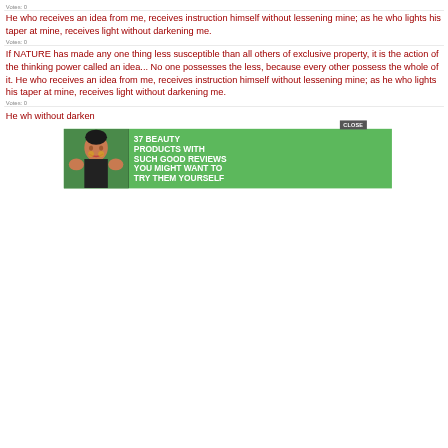Votes: 0
He who receives an idea from me, receives instruction himself without lessening mine; as he who lights his taper at mine, receives light without darkening me.
Votes: 0
If NATURE has made any one thing less susceptible than all others of exclusive property, it is the action of the thinking power called an idea... No one possesses the less, because every other possess the whole of it. He who receives an idea from me, receives instruction himself without lessening mine; as he who lights his taper at mine, receives light without darkening me.
Votes: 0
He wh...without darken...
[Figure (screenshot): Advertisement overlay: green background with woman smiling, text '37 BEAUTY PRODUCTS WITH SUCH GOOD REVIEWS YOU MIGHT WANT TO TRY THEM YOURSELF', 22 Words badge, close button]